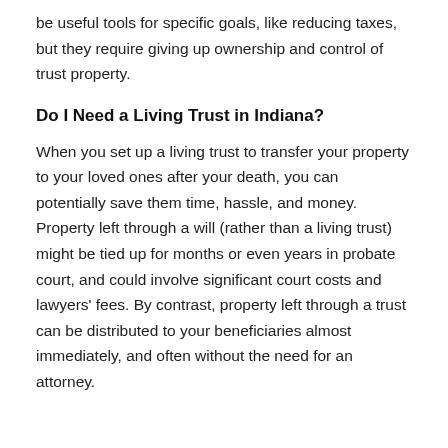be useful tools for specific goals, like reducing taxes, but they require giving up ownership and control of trust property.
Do I Need a Living Trust in Indiana?
When you set up a living trust to transfer your property to your loved ones after your death, you can potentially save them time, hassle, and money. Property left through a will (rather than a living trust) might be tied up for months or even years in probate court, and could involve significant court costs and lawyers' fees. By contrast, property left through a trust can be distributed to your beneficiaries almost immediately, and often without the need for an attorney.